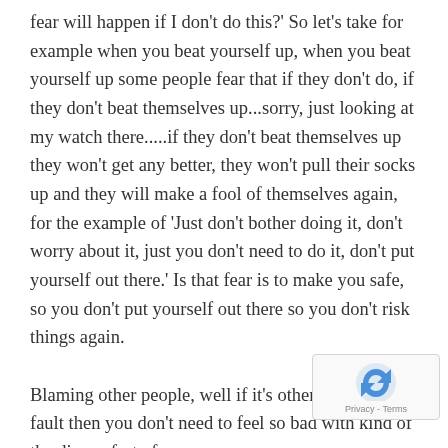fear will happen if I don't do this?' So let's take for example when you beat yourself up, when you beat yourself up some people fear that if they don't do, if they don't beat themselves up...sorry, just looking at my watch there.....if they don't beat themselves up they won't get any better, they won't pull their socks up and they will make a fool of themselves again, for the example of 'Just don't bother doing it, don't worry about it, just you don't need to do it, don't put yourself out there.' Is that fear is to make you safe, so you don't put yourself out there so you don't risk things again.

Blaming other people, well if it's other people's fault then you don't need to feel so bad with kind of the discomfort of...
[Figure (logo): reCAPTCHA badge with Privacy - Terms text]